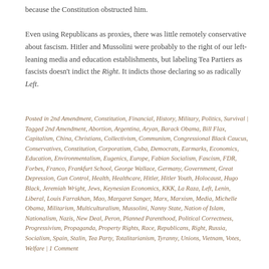because the Constitution obstructed him.

Even using Republicans as proxies, there was little remotely conservative about fascism. Hitler and Mussolini were probably to the right of our left-leaning media and education establishments, but labeling Tea Partiers as fascists doesn't indict the Right. It indicts those declaring so as radically Left.
Posted in 2nd Amendment, Constitution, Financial, History, Military, Politics, Survival | Tagged 2nd Amendment, Abortion, Argentina, Aryan, Barack Obama, Bill Flax, Capitalism, China, Christians, Collectivism, Communism, Congressional Black Caucus, Conservatives, Constitution, Corporatism, Cuba, Democrats, Earmarks, Economics, Education, Environmentalism, Eugenics, Europe, Fabian Socialism, Fascism, FDR, Forbes, Franco, Frankfurt School, George Wallace, Germany, Government, Great Depression, Gun Control, Health, Healthcare, Hitler, Hitler Youth, Holocaust, Hugo Black, Jeremiah Wright, Jews, Keynesian Economics, KKK, La Raza, Left, Lenin, Liberal, Louis Farrakhan, Mao, Margaret Sanger, Marx, Marxism, Media, Michelle Obama, Militarism, Multiculturalism, Mussolini, Nanny State, Nation of Islam, Nationalism, Nazis, New Deal, Peron, Planned Parenthood, Political Correctness, Progressivism, Propaganda, Property Rights, Race, Republicans, Right, Russia, Socialism, Spain, Stalin, Tea Party, Totalitarianism, Tyranny, Unions, Vietnam, Votes, Welfare | 1 Comment